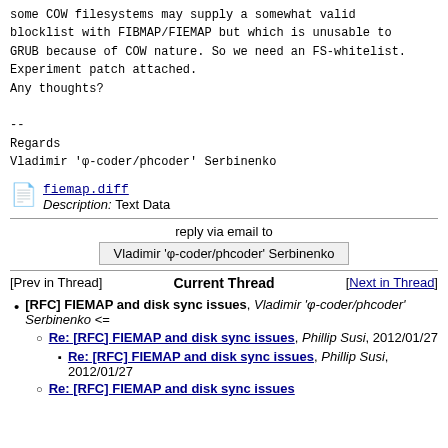some COW filesystems may supply a somewhat valid
blocklist with FIBMAP/FIEMAP but which is unusable to
GRUB because of COW nature. So we need an FS-whitelist.
Experiment patch attached.
Any thoughts?

--
Regards
Vladimir 'φ-coder/phcoder' Serbinenko
[Figure (other): File attachment icon with link to fiemap.diff and description 'Description: Text Data']
reply via email to
Vladimir 'φ-coder/phcoder' Serbinenko
[Prev in Thread]   Current Thread   [Next in Thread]
[RFC] FIEMAP and disk sync issues, Vladimir 'φ-coder/phcoder' Serbinenko <=
Re: [RFC] FIEMAP and disk sync issues, Phillip Susi, 2012/01/27
Re: [RFC] FIEMAP and disk sync issues, Phillip Susi, 2012/01/27
Re: [RFC] FIEMAP and disk sync issues